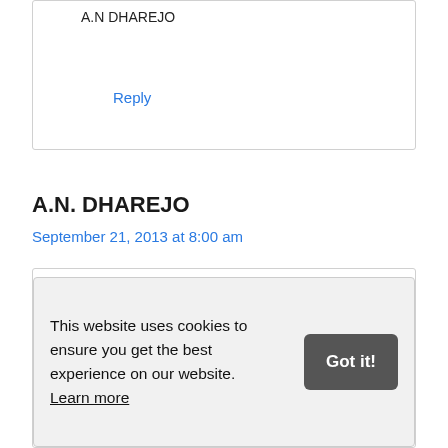A.N DHAREJO
Reply
A.N. DHAREJO
September 21, 2013 at 8:00 am
I am highly thankful to you to send me
I am waiting for your kind reply.
This website uses cookies to ensure you get the best experience on our website. Learn more
Got it!